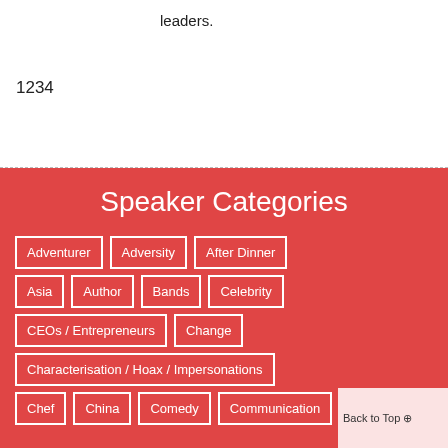leaders.
1234
Speaker Categories
Adventurer
Adversity
After Dinner
Asia
Author
Bands
Celebrity
CEOs / Entrepreneurs
Change
Characterisation / Hoax / Impersonations
Chef
China
Comedy
Communication